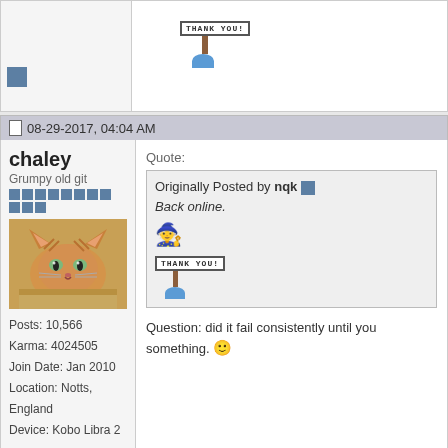[Figure (screenshot): Top partial forum post showing a 'Thank You' pixel art image and a blue square reply button]
08-29-2017, 04:04 AM
chaley
Grumpy old git
Posts: 10,566
Karma: 4024505
Join Date: Jan 2010
Location: Notts, England
Device: Kobo Libra 2
Quote:
Originally Posted by nqk
Back online.
Question: did it fail consistently until you something.
08-29-2017, 05:57 AM